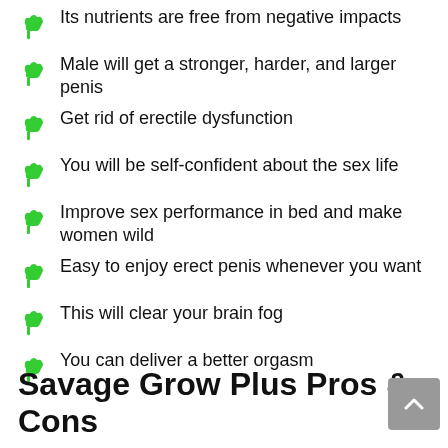Its nutrients are free from negative impacts
Male will get a stronger, harder, and larger penis
Get rid of erectile dysfunction
You will be self-confident about the sex life
Improve sex performance in bed and make women wild
Easy to enjoy erect penis whenever you want
This will clear your brain fog
You can deliver a better orgasm
Savage Grow Plus Pros & Cons